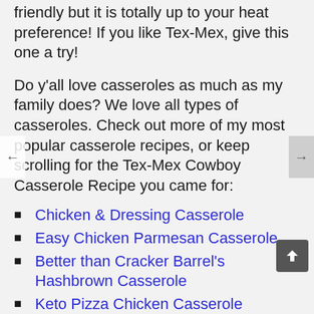friendly but it is totally up to your heat preference!  If you like Tex-Mex, give this one a try!
Do y'all love casseroles as much as my family does?  We love all types of casseroles.  Check out more of my most popular casserole recipes, or keep scrolling for the Tex-Mex Cowboy Casserole Recipe you came for:
Chicken & Dressing Casserole
Easy Chicken Parmesan Casserole
Better than Cracker Barrel's Hashbrown Casserole
Keto Pizza Chicken Casserole
Chicken & Doritos Casserole
This Tex-Mex Cowboy Casserole has been a family favorite FOR YEARS! It is one of the most popular casseroles on our site and it's no wonder why! It's got everything you